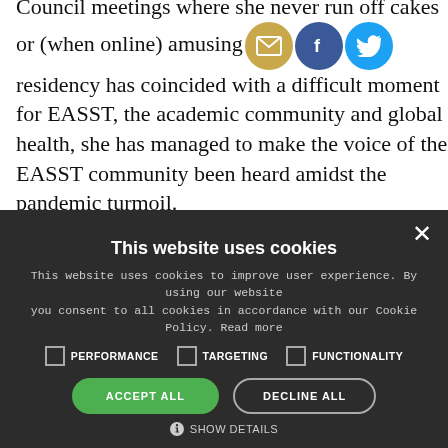Council meetings where she never run off cakes or (when online) amusing [social icons] residency has coincided with a difficult moment for EASST, the academic community and global health, she has managed to make the voice of the EASST community been heard amidst the pandemic turmoil.
Thanks and good luck with your next adventures, Uli!
[Figure (screenshot): Cookie consent overlay with dark background. Title: 'This website uses cookies'. Body text about cookie policy. Three checkboxes: PERFORMANCE, TARGETING, FUNCTIONALITY. Two buttons: ACCEPT ALL (green), DECLINE ALL (outlined). Show details option at bottom.]